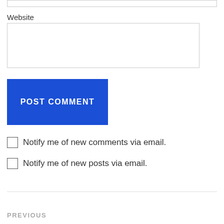Website
[Figure (screenshot): Empty website input text field with light gray border]
[Figure (screenshot): Blue POST COMMENT button]
Notify me of new comments via email.
Notify me of new posts via email.
PREVIOUS